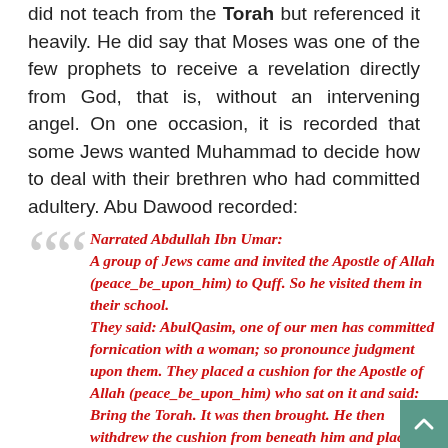did not teach from the Torah but referenced it heavily. He did say that Moses was one of the few prophets to receive a revelation directly from God, that is, without an intervening angel. On one occasion, it is recorded that some Jews wanted Muhammad to decide how to deal with their brethren who had committed adultery. Abu Dawood recorded:
Narrated Abdullah Ibn Umar: A group of Jews came and invited the Apostle of Allah (peace_be_upon_him) to Quff. So he visited them in their school. They said: AbulQasim, one of our men has committed fornication with a woman; so pronounce judgment upon them. They placed a cushion for the Apostle of Allah (peace_be_upon_him) who sat on it and said: Bring the Torah. It was then brought. He then withdrew the cushion from beneath him and placed the Torah on it saying: I believed in thee and in Him Who revealed thee. He then said: Bring me one who is learned among